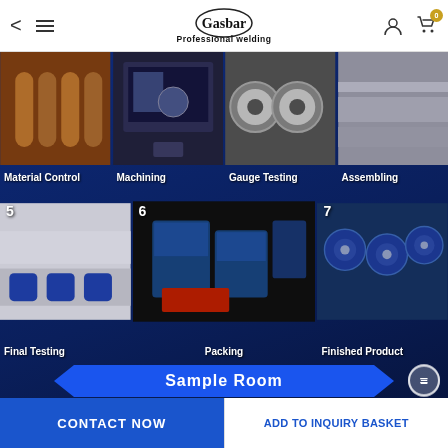Gasbar Professional welding — navigation header with back, menu, logo, user icon, cart
[Figure (photo): Material Control — copper pipes/tubes photo with label]
[Figure (photo): Machining — CNC machine operator photo with label]
[Figure (photo): Gauge Testing — pressure gauges photo with label]
[Figure (photo): Assembling — assembly line photo with label]
[Figure (photo): 5 Final Testing — testing station photo with label]
[Figure (photo): 6 Packing — product boxes photo with label]
[Figure (photo): 7 Finished Product — finished blue regulators photo with label]
Sample Room
[Figure (photo): Sample Room interior — glass/metal shelving partially visible]
CONTACT NOW | ADD TO INQUIRY BASKET